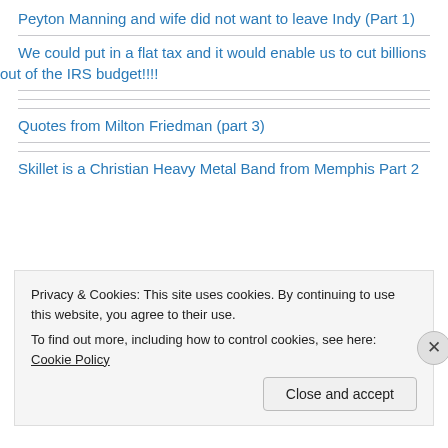Peyton Manning and wife did not want to leave Indy (Part 1)
We could put in a flat tax and it would enable us to cut billions out of the IRS budget!!!!
Quotes from Milton Friedman (part 3)
Skillet is a Christian Heavy Metal Band from Memphis Part 2
Privacy & Cookies: This site uses cookies. By continuing to use this website, you agree to their use.
To find out more, including how to control cookies, see here: Cookie Policy
Close and accept